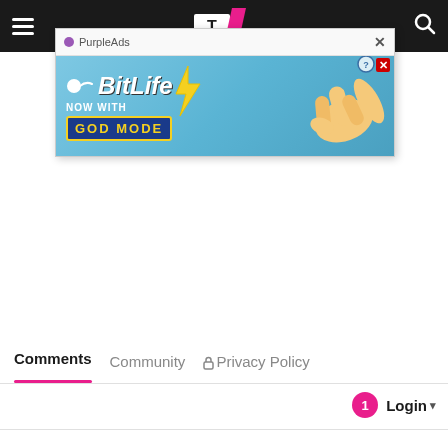Navigation bar with hamburger menu, site logo, and search icon
[Figure (screenshot): PurpleAds advertisement banner for BitLife game with 'NOW WITH GOD MODE' text on a blue background with cartoon hand graphic]
Comments   Community   🔒 Privacy Policy
Login ▾